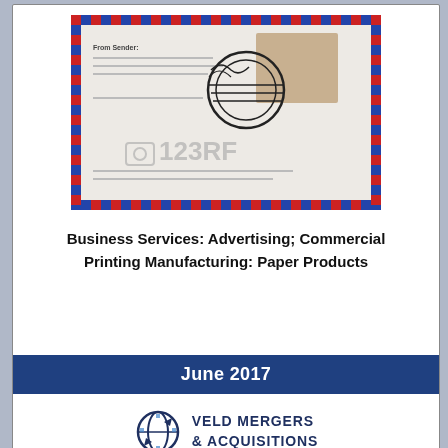[Figure (illustration): Airmail envelope with 123RF watermark, decorative postage stamp with circular postmark, and red-blue diagonal border strips]
Business Services: Advertising; Commercial Printing Manufacturing: Paper Products
June 2017
[Figure (logo): Veld Mergers & Acquisitions logo with globe/arrow icon in navy blue]
[Figure (photo): Partial second card showing headphones silhouette at bottom, with reCAPTCHA Privacy/Terms overlay in bottom right]